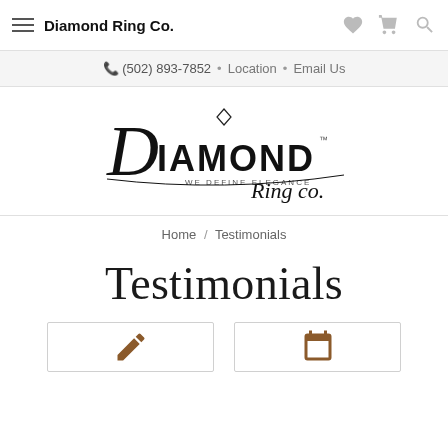Diamond Ring Co.
📞 (502) 893-7852 • Location • Email Us
[Figure (logo): Diamond Ring Co. logo with cursive and serif lettering, diamond icon above. Tagline: WE DEFINE ELEGANCE]
Home / Testimonials
Testimonials
[Figure (other): Two partially visible cards with gold/brown icons at the bottom of the page]